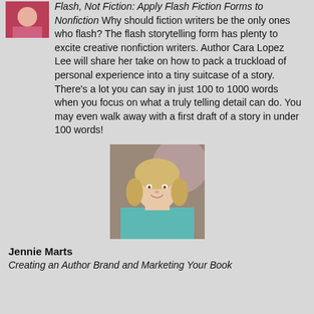[Figure (photo): Small photo of a person (partially visible, cropped at top) in the upper-left corner, next to the text block]
Flash, Not Fiction: Apply Flash Fiction Forms to Nonfiction Why should fiction writers be the only ones who flash? The flash storytelling form has plenty to excite creative nonfiction writers. Author Cara Lopez Lee will share her take on how to pack a truckload of personal experience into a tiny suitcase of a story. There's a lot you can say in just 100 to 1000 words when you focus on what a truly telling detail can do. You may even walk away with a first draft of a story in under 100 words!
[Figure (photo): Portrait photo of Jennie Marts, a smiling woman with blonde hair wearing a teal/turquoise top, centered on the page]
Jennie Marts
Creating an Author Brand and Marketing Your Book